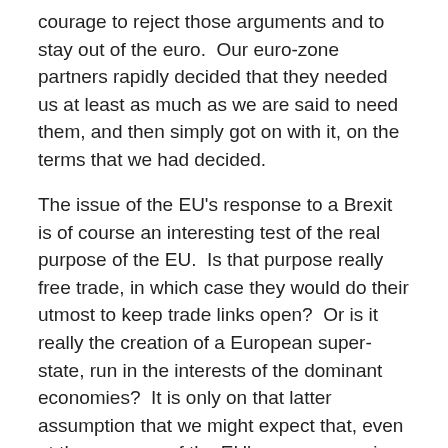courage to reject those arguments and to stay out of the euro.  Our euro-zone partners rapidly decided that they needed us at least as much as we are said to need them, and then simply got on with it, on the terms that we had decided.
The issue of the EU's response to a Brexit is of course an interesting test of the real purpose of the EU.  Is that purpose really free trade, in which case they would do their utmost to keep trade links open?  Or is it really the creation of a European super-state, run in the interests of the dominant economies?  It is only on that latter assumption that we might expect that, even at the expense of the EU's own economic self-interest, defectors would be punished pour encourager les autres.
A decision in favour of Brexit would not in any case produce, as is so often alleged, the complete rupture of our relations with the EU.  It would not mean turning our backs on Europe.